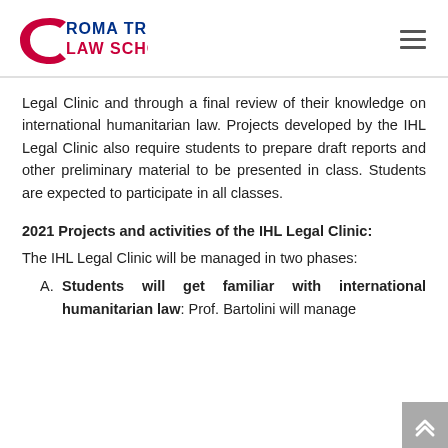Roma Tre Law School
Legal Clinic and through a final review of their knowledge on international humanitarian law. Projects developed by the IHL Legal Clinic also require students to prepare draft reports and other preliminary material to be presented in class. Students are expected to participate in all classes.
2021 Projects and activities of the IHL Legal Clinic:
The IHL Legal Clinic will be managed in two phases:
Students will get familiar with international humanitarian law: Prof. Bartolini will manage